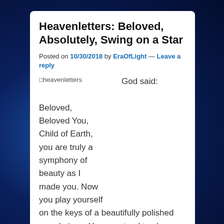Heavenletters: Beloved, Absolutely, Swing on a Star
Posted on 10/30/2018 by EraOfLight — Leave a reply
[Figure (other): heavenletters image placeholder]
God said:

Beloved, Beloved You, Child of Earth, you are truly a symphony of beauty as I made you. Now you play yourself on the keys of a beautifully polished grand piano. You may tend to play urgently, as if life itself could be endangered. This is more than one way of looking at life. There are many ways to look at life, not all